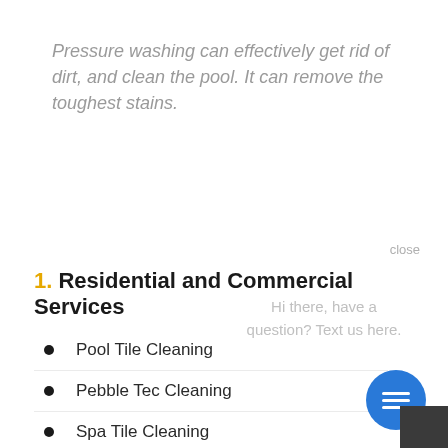Pressure washing can effectively get rid of dirt, and clean the pool. It can remove the toughest stains.
close
1. Residential and Commercial Services
Hi there, have a question? Text us here.
Pool Tile Cleaning
Pebble Tec Cleaning
Spa Tile Cleaning
Fountain and Waterfall Cleaning